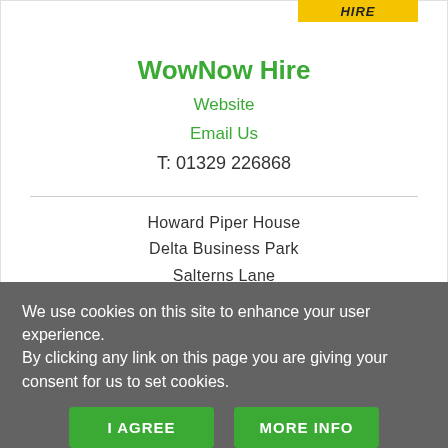[Figure (logo): Yellow banner with italic bold text 'HIRE' at top right]
WowNow Hire
Website
Email Us
T: 01329 226868
Howard Piper House
Delta Business Park
Salterns Lane
PO16 0QS
We use cookies on this site to enhance your user experience.
By clicking any link on this page you are giving your consent for us to set cookies.